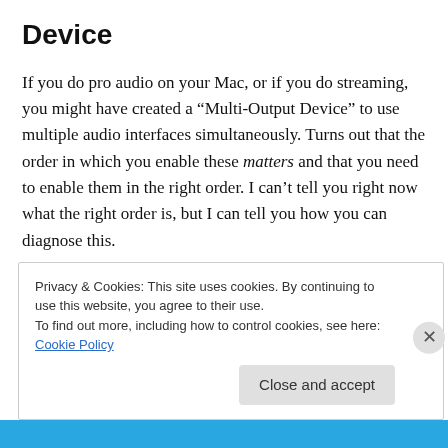Device
If you do pro audio on your Mac, or if you do streaming, you might have created a “Multi-Output Device” to use multiple audio interfaces simultaneously. Turns out that the order in which you enable these matters and that you need to enable them in the right order. I can’t tell you right now what the right order is, but I can tell you how you can diagnose this.
Privacy & Cookies: This site uses cookies. By continuing to use this website, you agree to their use.
To find out more, including how to control cookies, see here: Cookie Policy
Close and accept